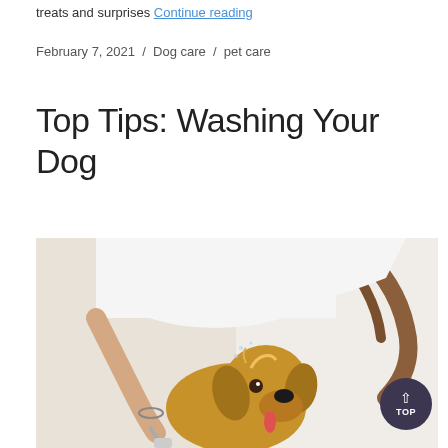treats and surprises Continue reading
February 7, 2021 / Dog care / pet care
Top Tips: Washing Your Dog
[Figure (photo): A woman with brown hair in a ponytail wearing a white shirt, washing a golden retriever dog with a shower hose. The dog has its tongue out and looks happy. The scene appears to be in a white bathroom.]